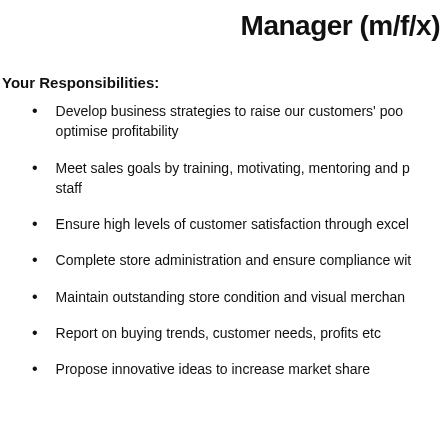Manager (m/f/x)
Your Responsibilities:
Develop business strategies to raise our customers' pool and optimise profitability
Meet sales goals by training, motivating, mentoring and providing feedback to staff
Ensure high levels of customer satisfaction through excel
Complete store administration and ensure compliance wit
Maintain outstanding store condition and visual merchan
Report on buying trends, customer needs, profits etc
Propose innovative ideas to increase market share